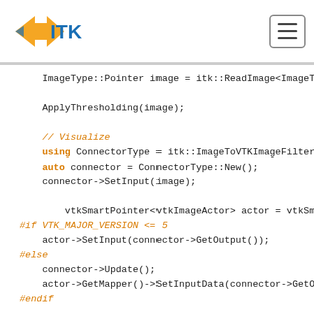ITK logo and navigation menu
Code snippet showing ITK/VTK C++ visualization code including ImageType::Pointer, ApplyThresholding, ConnectorType, vtkSmartPointer usage, #if VTK_MAJOR_VERSION <= 5 conditional, and render window setup.